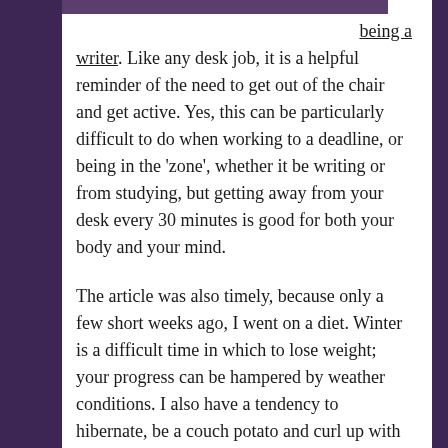[Figure (photo): Partial photo strip visible at top of page]
being a writer. Like any desk job, it is a helpful reminder of the need to get out of the chair and get active. Yes, this can be particularly difficult to do when working to a deadline, or being in the 'zone', whether it be writing or from studying, but getting away from your desk every 30 minutes is good for both your body and your mind.
The article was also timely, because only a few short weeks ago, I went on a diet. Winter is a difficult time in which to lose weight; your progress can be hampered by weather conditions. I also have a tendency to hibernate, be a couch potato and curl up with some good books. In the winter months, combining weight loss and writing can sometimes be difficult. It made me think of the similarities between the two and the different ways to get through it*.